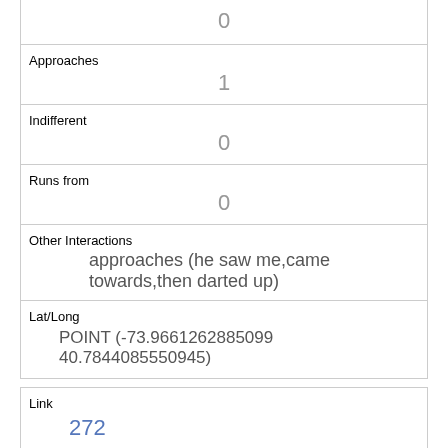| 0 |
| Approaches | 1 |
| Indifferent | 0 |
| Runs from | 0 |
| Other Interactions | approaches (he saw me,came towards,then darted up) |
| Lat/Long | POINT (-73.9661262885099 40.7844085550945) |
| Link | 272 |
| rowid | 272 |
| longitude | -73.9521950056404 |
| latitude | 40.794937340844996 |